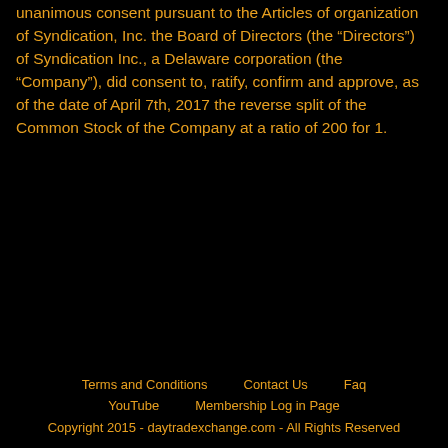unanimous consent pursuant to the Articles of organization of Syndication, Inc. the Board of Directors (the “Directors”) of Syndication Inc., a Delaware corporation (the “Company”), did consent to, ratify, confirm and approve, as of the date of April 7th, 2017 the reverse split of the Common Stock of the Company at a ratio of 200 for 1.
Terms and Conditions   Contact Us   Faq
YouTube   Membership Log in Page
Copyright 2015 - daytradexchange.com - All Rights Reserved